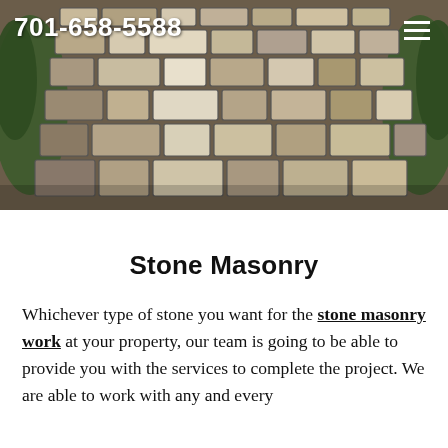[Figure (photo): Overhead view of a stone paver pathway or patio with irregular rectangular stones in shades of gray, tan, and beige, with green shrubs visible on both sides. Phone number 701-658-5588 overlaid in white bold text at top left, and a hamburger menu icon at top right.]
Stone Masonry
Whichever type of stone you want for the stone masonry work at your property, our team is going to be able to provide you with the services to complete the project. We are able to work with any and every